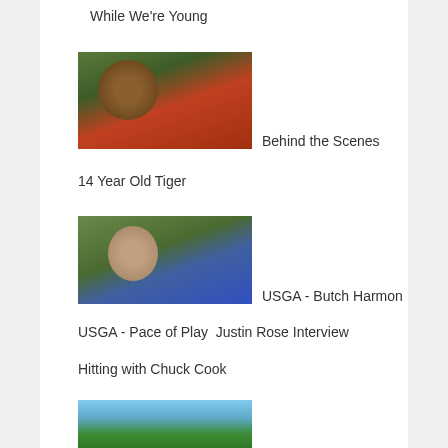While We're Young
[Figure (photo): Man in red shirt and black cap outdoors near trees]
Behind the Scenes
14 Year Old Tiger
[Figure (photo): Older man in blue polo shirt outdoors on golf course]
USGA - Butch Harmon
USGA - Pace of Play  Justin Rose Interview
Hitting with Chuck Cook
[Figure (photo): Two people on golf course, one in white one in teal]